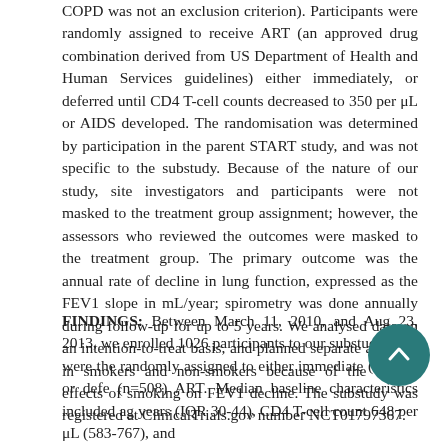COPD was not an exclusion criterion). Participants were randomly assigned to receive ART (an approved drug combination derived from US Department of Health and Human Services guidelines) either immediately, or deferred until CD4 T-cell counts decreased to 350 per μL or AIDS developed. The randomisation was determined by participation in the parent START study, and was not specific to the substudy. Because of the nature of our study, site investigators and participants were not masked to the treatment group assignment; however, the assessors who reviewed the outcomes were masked to the treatment group. The primary outcome was the annual rate of decline in lung function, expressed as the FEV1 slope in mL/year; spirometry was done annually during follow-up for up to 5 years. We analysed data on an intention-to-treat basis, and planned separate analyses in smokers and non-smokers because of the known effects of smoking on FEV1 decline. The substudy was registered at ClinicalTrials.gov number NCT01797367.
FINDINGS: Between March 11, 2010, and Aug 23, 2013, we enrolled 1026 participants to our substudy, who were then randomly assigned to either immediate (n=518) or deferred (n=508) ART. Median baseline characteristics included age 36 years (IQR 30-44), CD4 T-cell count 648 per μL (583-767), and HIV viral load 4.6 log10 copies per mL (3.6-4.7×10⁶)...